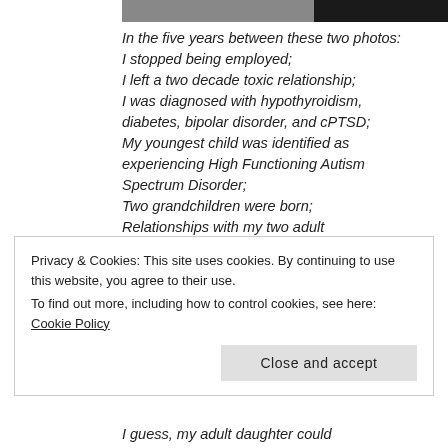[Figure (photo): Partial photo strip showing top of image — dark background with partial face/photo visible]
In the five years between these two photos:
I stopped being employed;
I left a two decade toxic relationship;
I was diagnosed with hypothyroidism, diabetes, bipolar disorder, and cPTSD;
My youngest child was identified as experiencing High Functioning Autism Spectrum Disorder;
Two grandchildren were born;
Relationships with my two adult
Privacy & Cookies: This site uses cookies. By continuing to use this website, you agree to their use.
To find out more, including how to control cookies, see here: Cookie Policy
Close and accept
I guess, my adult daughter could